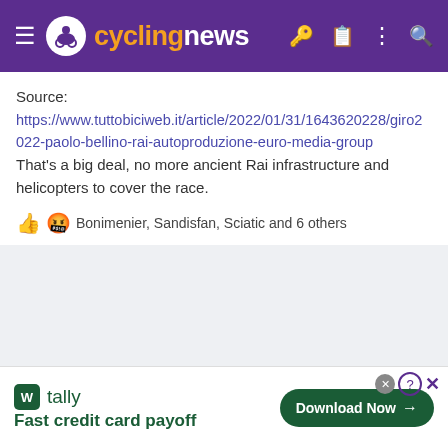cyclingnews
Source:
https://www.tuttobiciweb.it/article/2022/01/31/1643620228/giro2022-paolo-bellino-rai-autoproduzione-euro-media-group
That's a big deal, no more ancient Rai infrastructure and helicopters to cover the race.
👍😤 Bonimenier, Sandisfan, Sciatic and 6 others
[Figure (screenshot): Advertisement banner for Tally app: Fast credit card payoff, with Download Now button]